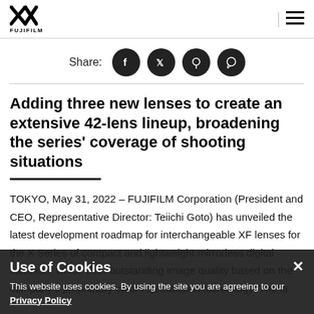FUJIFILM
Share:
Adding three new lenses to create an extensive 42-lens lineup, broadening the series' coverage of shooting situations
TOKYO, May 31, 2022 – FUJIFILM Corporation (President and CEO, Representative Director: Teiichi Goto) has unveiled the latest development roadmap for interchangeable XF lenses for the X Series of compact and lightweight mirrorless digital cameras, which offer outstanding image quality based on the company's proprietary color reproduction technology. The latest development roadmap includes three new lenses, a
Use of Cookies
This website uses cookies. By using the site you are agreeing to our Privacy Policy